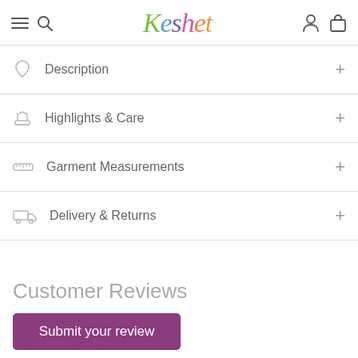Keshet
Description
Highlights & Care
Garment Measurements
Delivery & Returns
Customer Reviews
Submit your review